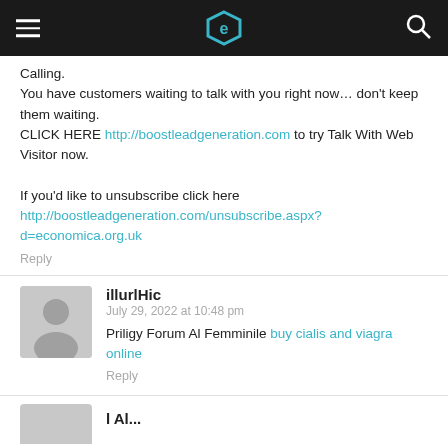e (logo)
Calling.
You have customers waiting to talk with you right now… don't keep them waiting.
CLICK HERE http://boostleadgeneration.com to try Talk With Web Visitor now.

If you'd like to unsubscribe click here
http://boostleadgeneration.com/unsubscribe.aspx?d=economica.org.uk
Reply
illurlHic
July 29, 2022 at 10:48 pm
Priligy Forum Al Femminile buy cialis and viagra online
Reply